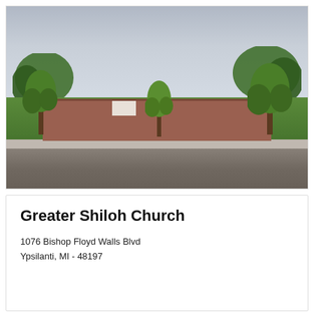[Figure (photo): Street-level photograph of Greater Shiloh Church, a low one-story brick building with a wide lawn and trees in front, taken from the road. Overcast sky visible.]
Greater Shiloh Church
1076 Bishop Floyd Walls Blvd
Ypsilanti, MI - 48197